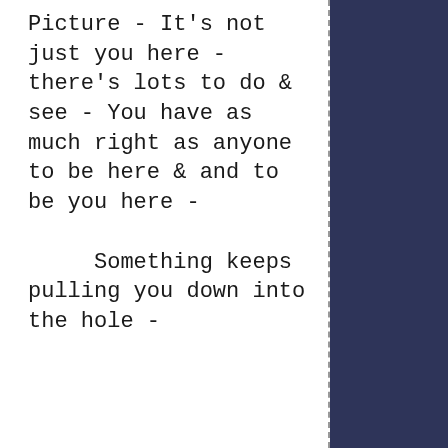Picture - It's not just you here - there's lots to do & see - You have as much right as anyone to be here & and to be you here -

     Something keeps pulling you down into the hole -